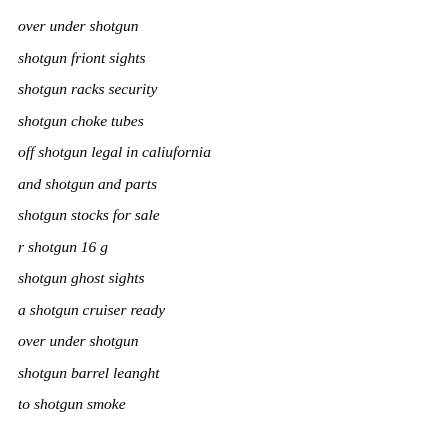over under shotgun
shotgun friont sights
shotgun racks security
shotgun choke tubes
off shotgun legal in caliufornia
and shotgun and parts
shotgun stocks for sale
r shotgun 16 g
shotgun ghost sights
a shotgun cruiser ready
over under shotgun
shotgun barrel leanght
to shotgun smoke